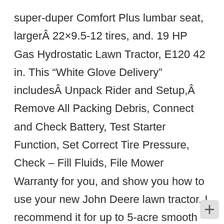super-duper Comfort Plus lumbar seat, largerÂ 22×9.5-12 tires, and. 19 HP Gas Hydrostatic Lawn Tractor, E120 42 in. This “White Glove Delivery” includesÂ Unpack Rider and Setup,Â Remove All Packing Debris, Connect and Check Battery, Test Starter Function, Set Correct Tire Pressure, Check – Fill Fluids, File Mower Warranty for you, and show you how to use your new John Deere lawn tractor. I recommend it for up to 5-acre smooth lawns – mowed weekly. We purchased the John Deere E160 Lawn Tractor so our expert reviewer could put it to the test on a large yard. in) single-cylinder gasoline engine and a belt-driven CVT transmission with infinite forward and reverse gears. If they were using good synthetic oil and this new high capacity filter, they should be able to extend the filter...